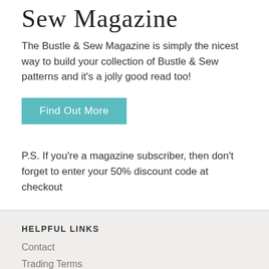Sew Magazine
The Bustle & Sew Magazine is simply the nicest way to build your collection of Bustle & Sew patterns and it's a jolly good read too!
Find Out More
P.S. If you're a magazine subscriber, then don't forget to enter your 50% discount code at checkout
HELPFUL LINKS
Contact
Trading Terms
Privacy Policy
Delivery
Payment
SOCIAL MEDIA